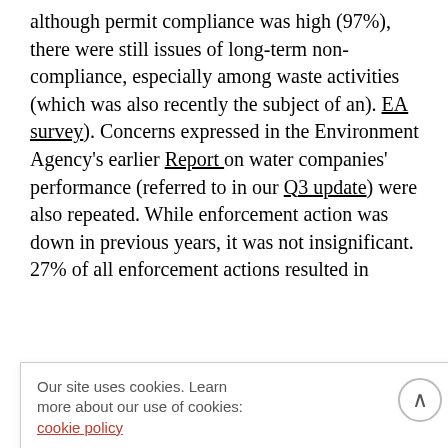although permit compliance was high (97%), there were still issues of long-term non-compliance, especially among waste activities (which was also recently the subject of an). EA survey). Concerns expressed in the Environment Agency's earlier Report on water companies' performance (referred to in our Q3 update) were also repeated. While enforcement action was down in previous years, it was not insignificant. 27% of all enforcement actions resulted in resulted in enforcement by the EA, her power. lged some
Our site uses cookies. Learn more about our use of cookies: cookie policy
I ACCEPT USE OF COOKIES
progress, such as the implementation EA2025